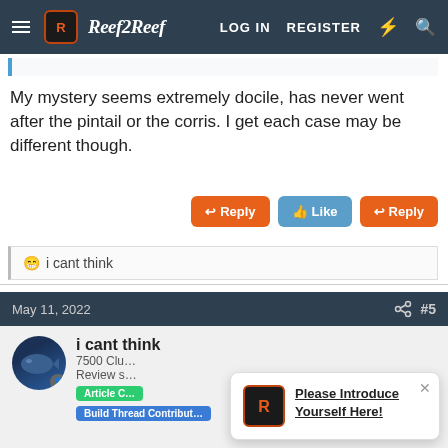Reef2Reef — LOG IN  REGISTER
My mystery seems extremely docile, has never went after the pintail or the corris. I get each case may be different though.
Reply  Like  Reply
😁 i cant think
May 11, 2022  #5
i cant think
7500 Clu…
Review s…
Article C…
Build Thread Contributor
Please Introduce Yourself Here!